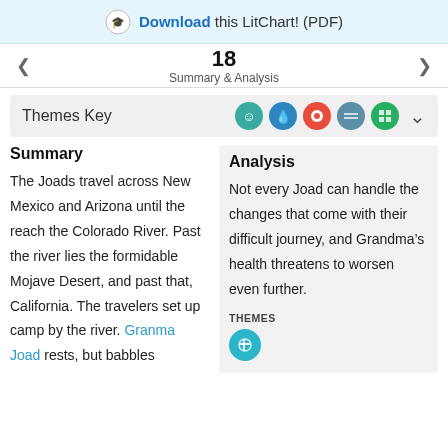Download this LitChart! (PDF)
18
Summary & Analysis
Themes Key
Summary
Analysis
The Joads travel across New Mexico and Arizona until the reach the Colorado River. Past the river lies the formidable Mojave Desert, and past that, California. The travelers set up camp by the river. Granma Joad rests, but babbles
Not every Joad can handle the changes that come with their difficult journey, and Grandma’s health threatens to worsen even further.
THEMES